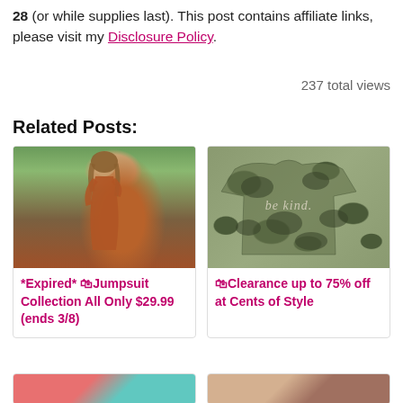28 (or while supplies last). This post contains affiliate links, please visit my Disclosure Policy.
237 total views
Related Posts:
[Figure (photo): Woman in rust/orange jumpsuit sitting outdoors in tall grass]
*Expired* 🛍Jumpsuit Collection All Only $29.99 (ends 3/8)
[Figure (photo): Camo t-shirt with 'be kind.' text on it]
🛍Clearance up to 75% off at Cents of Style
[Figure (photo): Partial view of another related post image (pink/teal)]
[Figure (photo): Partial view of another related post image (brown tones)]